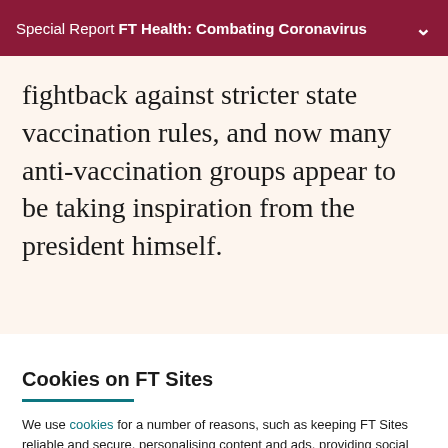Special Report FT Health: Combating Coronavirus
fightback against stricter state vaccination rules, and now many anti-vaccination groups appear to be taking inspiration from the president himself.
Cookies on FT Sites
We use cookies for a number of reasons, such as keeping FT Sites reliable and secure, personalising content and ads, providing social media features and to analyse how our Sites are used.
Manage cookies
Accept & continue